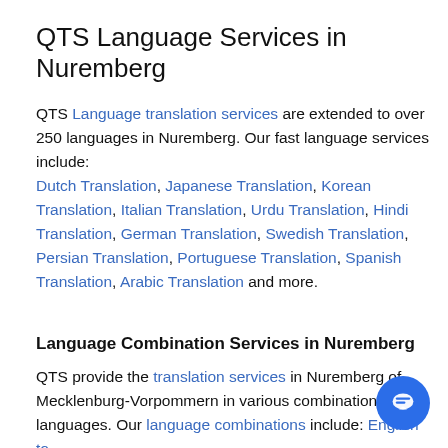QTS Language Services in Nuremberg
QTS Language translation services are extended to over 250 languages in Nuremberg. Our fast language services include: Dutch Translation, Japanese Translation, Korean Translation, Italian Translation, Urdu Translation, Hindi Translation, German Translation, Swedish Translation, Persian Translation, Portuguese Translation, Spanish Translation, Arabic Translation and more.
Language Combination Services in Nuremberg
QTS provide the translation services in Nuremberg of Mecklenburg-Vorpommern in various combinations of languages. Our language combinations include: English to